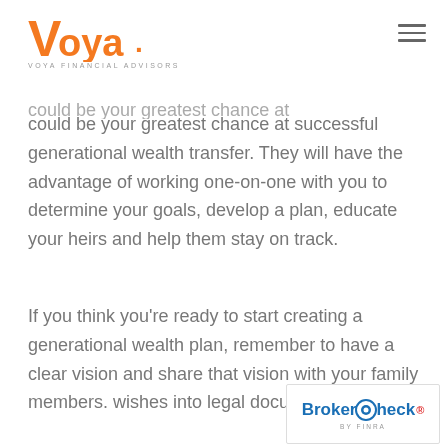[Figure (logo): Voya Financial Advisors logo — 'VOYA.' in orange bold lettering with 'VOYA FINANCIAL ADVISORS' in small grey caps below]
could be your greatest chance at successful generational wealth transfer. They will have the advantage of working one-on-one with you to determine your goals, develop a plan, educate your heirs and help them stay on track.
If you think you're ready to start creating a generational wealth plan, remember to have a clear vision and share that vision with your family members. wishes into legal documer
[Figure (logo): BrokerCheck by FINRA badge/logo in bottom right corner]